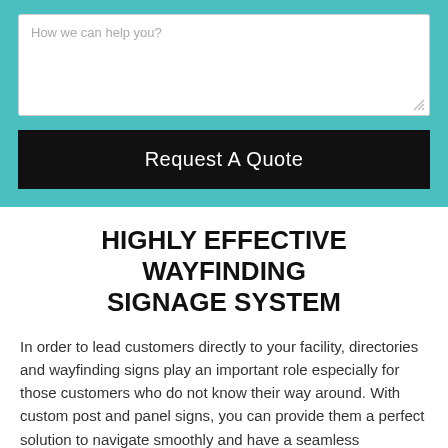[Figure (screenshot): Text area input field with placeholder text 'How we can help you?' on a teal background]
Request A Quote
HIGHLY EFFECTIVE WAYFINDING SIGNAGE SYSTEM
In order to lead customers directly to your facility, directories and wayfinding signs play an important role especially for those customers who do not know their way around. With custom post and panel signs, you can provide them a perfect solution to navigate smoothly and have a seamless experience.
When it comes to custom panel signs in Waterloo, no one...